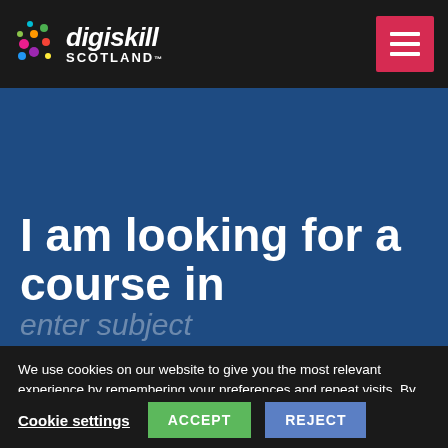digiskill SCOTLAND
I am looking for a course in
We use cookies on our website to give you the most relevant experience by remembering your preferences and repeat visits. By clicking “Accept”, you consent to the use of ALL the cookies. Read More
Cookie settings  ACCEPT  REJECT